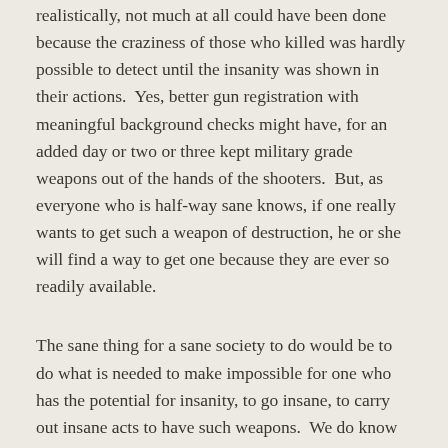realistically, not much at all could have been done because the craziness of those who killed was hardly possible to detect until the insanity was shown in their actions.  Yes, better gun registration with meaningful background checks might have, for an added day or two or three kept military grade weapons out of the hands of the shooters.  But, as everyone who is half-way sane knows, if one really wants to get such a weapon of destruction, he or she will find a way to get one because they are ever so readily available.
The sane thing for a sane society to do would be to do what is needed to make impossible for one who has the potential for insanity, to go insane, to carry out insane acts to have such weapons.  We do know that there are people who seem sane who are not really sane and we know that people who are truly sane can lapse into moments of insanity without hardly a sign of potential for this before they decide to do something insane.